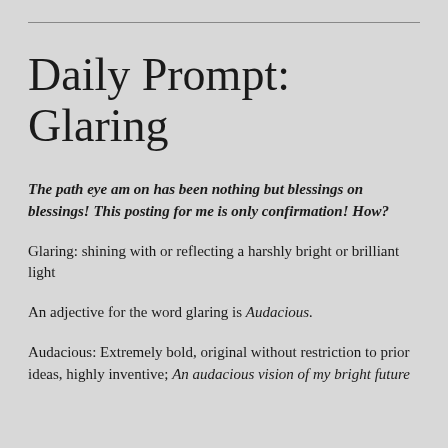Daily Prompt: Glaring
The path eye am on has been nothing but blessings on blessings! This posting for me is only confirmation! How?
Glaring: shining with or reflecting a harshly bright or brilliant light
An adjective for the word glaring is Audacious.
Audacious: Extremely bold, original without restriction to prior ideas, highly inventive; An audacious vision of my bright future